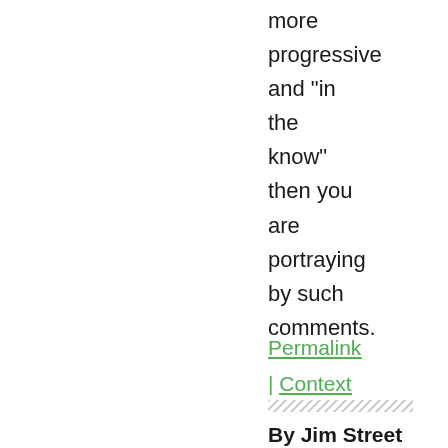more progressive and "in the know" then you are portraying by such comments.
Permalink | Context
By Jim Street (anonymous)